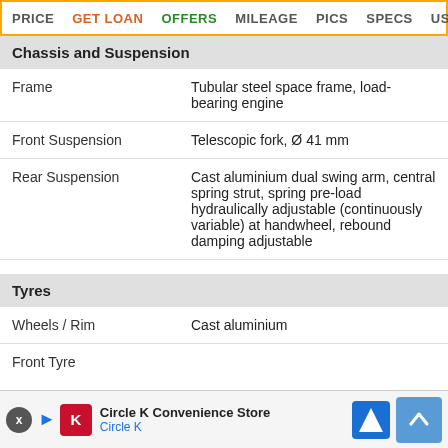PRICE | GET LOAN | OFFERS | MILEAGE | PICS | SPECS | USER RE
Chassis and Suspension
|  |  |
| --- | --- |
| Frame | Tubular steel space frame, load-bearing engine |
| Front Suspension | Telescopic fork, Ø 41 mm |
| Rear Suspension | Cast aluminium dual swing arm, central spring strut, spring pre-load hydraulically adjustable (continuously variable) at handwheel, rebound damping adjustable |
Tyres
|  |  |
| --- | --- |
| Wheels / Rim | Cast aluminium |
| Front Tyre |  |